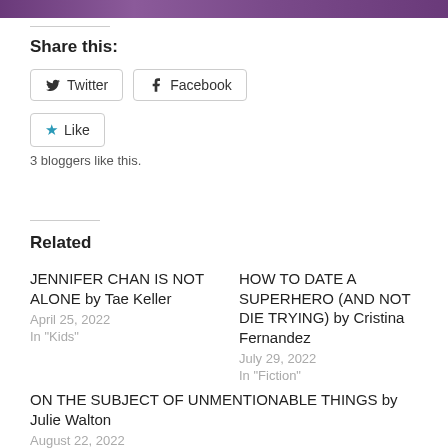[Figure (photo): Top image strip showing a partial photograph with purple/dark tones]
Share this:
[Figure (other): Twitter and Facebook share buttons, and a Like button with star icon. 3 bloggers like this.]
Related
JENNIFER CHAN IS NOT ALONE by Tae Keller
April 25, 2022
In 'Kids'
HOW TO DATE A SUPERHERO (AND NOT DIE TRYING) by Cristina Fernandez
July 29, 2022
In 'Fiction'
ON THE SUBJECT OF UNMENTIONABLE THINGS by Julie Walton
August 22, 2022